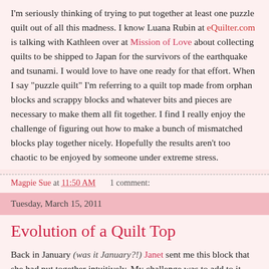I'm seriously thinking of trying to put together at least one puzzle quilt out of all this madness. I know Luana Rubin at eQuilter.com is talking with Kathleen over at Mission of Love about collecting quilts to be shipped to Japan for the survivors of the earthquake and tsunami. I would love to have one ready for that effort. When I say "puzzle quilt" I'm referring to a quilt top made from orphan blocks and scrappy blocks and whatever bits and pieces are necessary to make them all fit together. I find I really enjoy the challenge of figuring out how to make a bunch of mismatched blocks play together nicely. Hopefully the results aren't too chaotic to be enjoyed by someone under extreme stress.
Magpie Sue at 11:50 AM    1 comment:
Tuesday, March 15, 2011
Evolution of a Quilt Top
Back in January (was it January?!) Janet sent me this block that she had put together intuitively. My challenge was to add to it, also